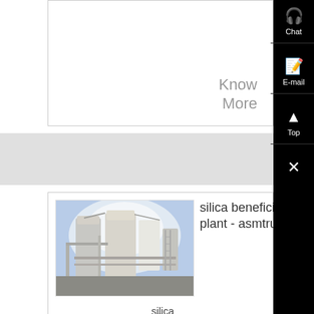Know
More
[Figure (photo): Industrial silica beneficiation plant with large metal silos, pipes and processing equipment against a blue sky]
silica beneficiation plant - asmtrustorg
silica beneficiation plant; silica beneficiation pla silica production line; , About silica (frac) sand minin and processing Minnesota ....